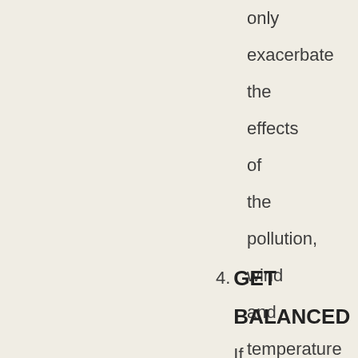only exacerbate the effects of the pollution, wind and temperature outside on your skin."
4. GET BALANCED If you have acne or problem skin,